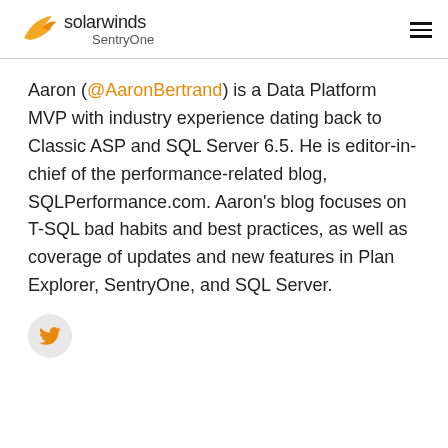solarwinds SentryOne
Aaron (@AaronBertrand) is a Data Platform MVP with industry experience dating back to Classic ASP and SQL Server 6.5. He is editor-in-chief of the performance-related blog, SQLPerformance.com. Aaron's blog focuses on T-SQL bad habits and best practices, as well as coverage of updates and new features in Plan Explorer, SentryOne, and SQL Server.
[Figure (logo): Twitter bird icon button in a light gray circle]